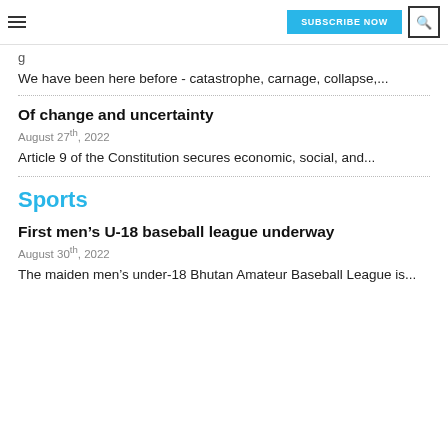SUBSCRIBE NOW
We have been here before - catastrophe, carnage, collapse,...
Of change and uncertainty
August 27th, 2022
Article 9 of the Constitution secures economic, social, and...
Sports
First men’s U-18 baseball league underway
August 30th, 2022
The maiden men’s under-18 Bhutan Amateur Baseball League is...